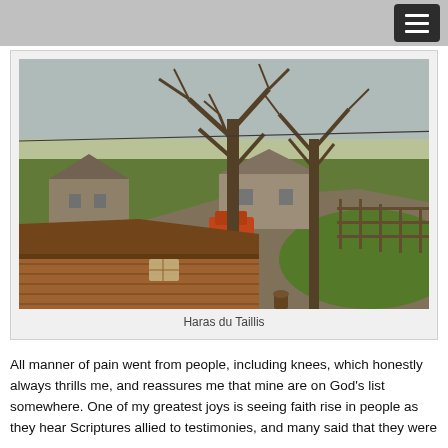[Figure (photo): Aerial or elevated view of a rural farm property called Haras du Taillis, showing a wooden cabin/shed in the foreground, bare trees, green grass, a driveway with a vehicle, stone buildings, and fencing in the background at golden hour.]
Haras du Taillis
All manner of pain went from people, including knees, which honestly always thrills me, and reassures me that mine are on God's list somewhere. One of my greatest joys is seeing faith rise in people as they hear Scriptures allied to testimonies, and many said that they were